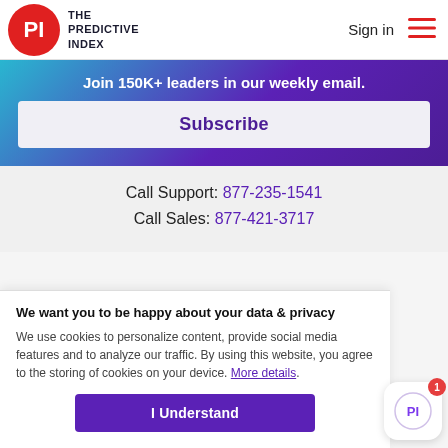THE PREDICTIVE INDEX | Sign in
Join 150K+ leaders in our weekly email.
Subscribe
Call Support: 877-235-1541
Call Sales: 877-421-3717
We want you to be happy about your data & privacy
We use cookies to personalize content, provide social media features and to analyze our traffic. By using this website, you agree to the storing of cookies on your device. More details.
I Understand